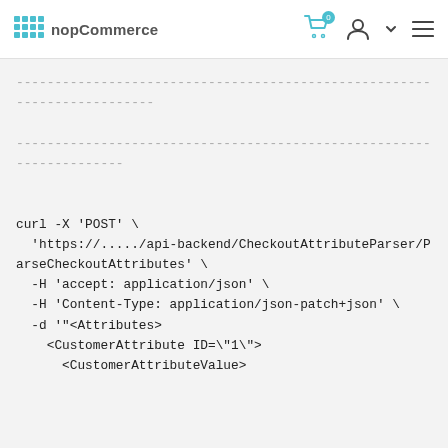nopCommerce
------------------------------------------------------------------------

--------------------------------------------------------------------

curl -X 'POST' \
  'https://...../api-backend/CheckoutAttributeParser/ParseCheckoutAttributes' \
  -H 'accept: application/json' \
  -H 'Content-Type: application/json-patch+json' \
  -d '"<Attributes>
    <CustomerAttribute ID=\"1\">
      <CustomerAttributeValue>